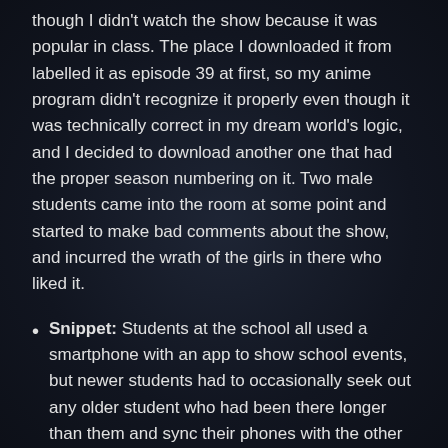though I didn't watch the show because it was popular in class. The place I downloaded it from labelled it as episode 39 at first, so my anime program didn't recognize it properly even though it was technically correct in my dream world's logic, and I decided to download another one that had the proper season numbering on it. Two male students came into the room at some point and started to make bad comments about the show, and incurred the wrath of the girls in there who liked it.
Snippet: Students at the school all used a smartphone with an app to show school events, but newer students had to occasionally seek out any older student who had been there longer than them and sync their phones with the other person in order to get updated calendar information. The more senior you were, the more stable your phone app was, or the more info you had been given on your phone. I guess...